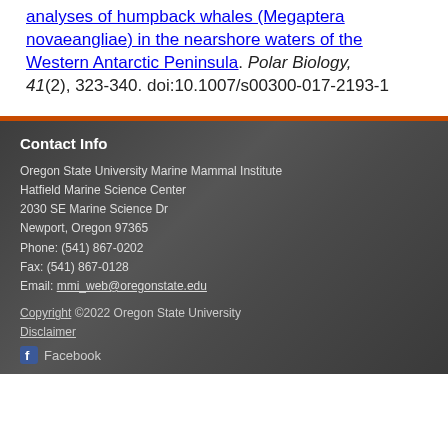analyses of humpback whales (Megaptera novaeangliae) in the nearshore waters of the Western Antarctic Peninsula. Polar Biology, 41(2), 323-340. doi:10.1007/s00300-017-2193-1
Contact Info
Oregon State University Marine Mammal Institute
Hatfield Marine Science Center
2030 SE Marine Science Dr
Newport, Oregon 97365
Phone: (541) 867-0202
Fax: (541) 867-0128
Email: mmi_web@oregonstate.edu
Copyright ©2022 Oregon State University
Disclaimer
Facebook